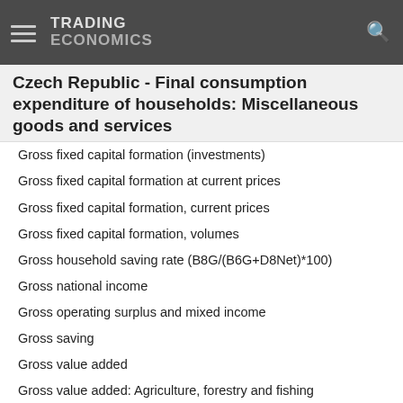TRADING ECONOMICS
Czech Republic - Final consumption expenditure of households: Miscellaneous goods and services
Gross fixed capital formation (investments)
Gross fixed capital formation at current prices
Gross fixed capital formation, current prices
Gross fixed capital formation, volumes
Gross household saving rate (B8G/(B6G+D8Net)*100)
Gross national income
Gross operating surplus and mixed income
Gross saving
Gross value added
Gross value added: Agriculture, forestry and fishing
Gross value added: Arts, entertainment and recreation; other service activities; activities of household and extra-territorial organizations and bodies
Gross value added: Construction
Gross value added: Financial and insurance activities
Gross value added: Industry (except construction)
Gross value added: Information and communication